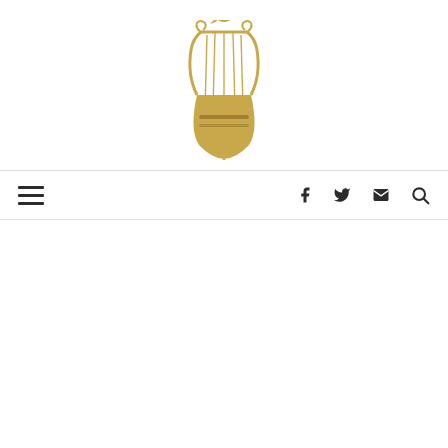[Figure (logo): Golden lyre/harp musical instrument logo with decorative elements including a bird and musical notes, rendered in gold/amber color]
[Figure (infographic): Navigation bar with hamburger menu icon on the left and social media icons (Facebook, Twitter, Email, Search) on the right]